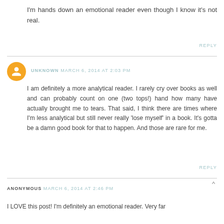I'm hands down an emotional reader even though I know it's not real.
REPLY
UNKNOWN MARCH 6, 2014 AT 2:03 PM
I am definitely a more analytical reader. I rarely cry over books as well and can probably count on one (two tops!) hand how many have actually brought me to tears. That said, I think there are times where I'm less analytical but still never really 'lose myself' in a book. It's gotta be a damn good book for that to happen. And those are rare for me.
REPLY
ANONYMOUS MARCH 6, 2014 AT 2:46 PM
I LOVE this post! I'm definitely an emotional reader. Very far